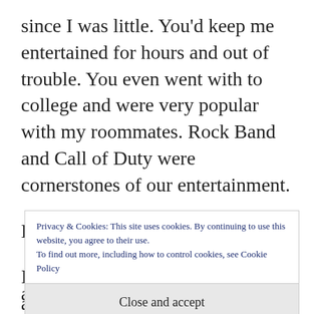since I was little. You'd keep me entertained for hours and out of trouble. You even went with to college and were very popular with my roommates. Rock Band and Call of Duty were cornerstones of our entertainment.
But that ends now.
I'm turning a new leaf in my life and you're the easiest thing to get rid of. You're nothing but
Privacy & Cookies: This site uses cookies. By continuing to use this website, you agree to their use.
To find out more, including how to control cookies, see Cookie Policy
Close and accept
and you've been holding me back.